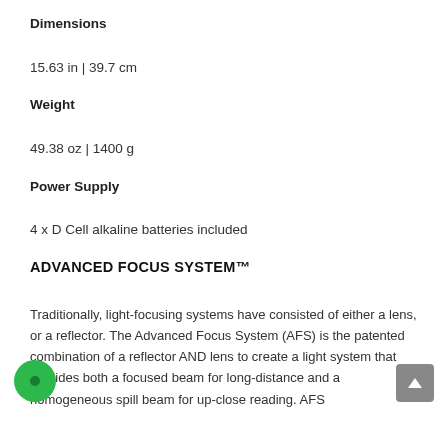Dimensions
15.63 in | 39.7 cm
Weight
49.38 oz | 1400 g
Power Supply
4 x D Cell alkaline batteries included
ADVANCED FOCUS SYSTEM™
Traditionally, light-focusing systems have consisted of either a lens, or a reflector. The Advanced Focus System (AFS) is the patented combination of a reflector AND lens to create a light system that provides both a focused beam for long-distance and a homogeneous spill beam for up-close reading. AFS